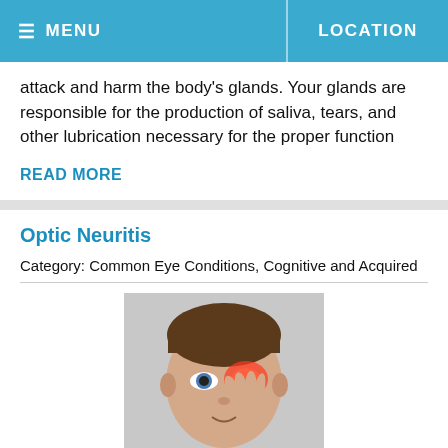MENU | LOCATION
attack and harm the body's glands. Your glands are responsible for the production of saliva, tears, and other lubrication necessary for the proper function
READ MORE
Optic Neuritis
Category: Common Eye Conditions, Cognitive and Acquired
[Figure (photo): A man holding his hand over his eye with a red glowing area indicating eye pain/inflammation.]
Also known as demyelinating optic neuritis, optic neuritis refers to the inflammation of the optic nerve due to the loss of or da covering